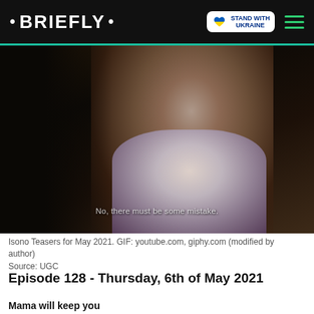• BRIEFLY •
[Figure (photo): Screenshot from Isono TV show, showing a woman in a floral nightgown looking concerned, with subtitle text 'No, there must be some mistake.' overlaid on the dark scene.]
Isono Teasers for May 2021. GIF: youtube.com, giphy.com (modified by author)
Source: UGC
Episode 128 - Thursday, 6th of May 2021
Mama will keep you